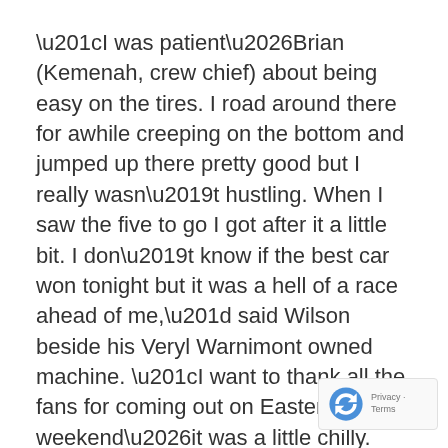“I was patient…Brian (Kemenah, crew chief) about being easy on the tires. I road around there for awhile creeping on the bottom and jumped up there pretty good but I really wasn’t hustling. When I saw the five to go I got after it a little bit. I don’t know if the best car won tonight but it was a hell of a race ahead of me,” said Wilson beside his Veryl Warnimont owned machine. “I want to thank all the fans for coming out on Easter weekend…it was a little chilly. Whether you’re a Greg Wilson fan or not, we need all you fans and we damn well appreciate it.”
Image
UNOH All Star Sprints – Craig Mintz #09
The 40-lap All Star feature had the fans on the of their seats the entire distance. Mintz would into the lead at the drop of the green with Tim